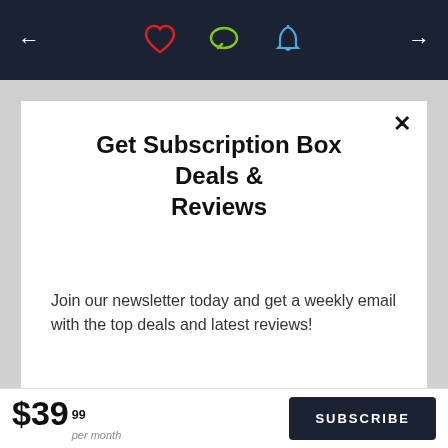[Figure (screenshot): Dark navy header bar with left arrow, heart icon (red), chat bubble icon (green), bell icon (blue), and right arrow on a dark background]
Get Subscription Box Deals & Reviews
Join our newsletter today and get a weekly email with the top deals and latest reviews!
Enter your email
Subscribe
$39 99 per month
SUBSCRIBE